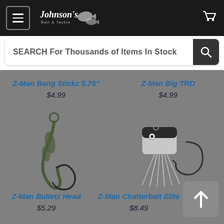[Figure (screenshot): Johnson's Bait & Tackle website header with hamburger menu, logo, and cart icon on dark background]
SEARCH For Thousands of Items In Stock
Z-Man Bang Stickz 5.75"
$4.99
Z-Man Big TRD
$4.99
[Figure (photo): Z-Man Bulletz Head fishing jig hook, dark olive/green color on grey background]
[Figure (photo): Z-Man Chatterbait Elite lure, white with black accents on grey background]
Z-Man Bulletz Head
$5.29
Z-Man Chatterbait Elite
$8.49